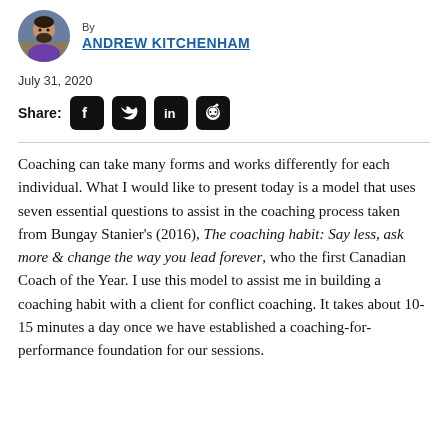[Figure (photo): Circular profile photo of Andrew Kitchenham, a man with dark beard wearing a purple shirt, with bookshelves in the background]
By
ANDREW KITCHENHAM
July 31, 2020
Share: [Facebook] [Twitter] [LinkedIn] [Reddit]
Coaching can take many forms and works differently for each individual. What I would like to present today is a model that uses seven essential questions to assist in the coaching process taken from Bungay Stanier's (2016), The coaching habit: Say less, ask more & change the way you lead forever, who the first Canadian Coach of the Year. I use this model to assist me in building a coaching habit with a client for conflict coaching. It takes about 10-15 minutes a day once we have established a coaching-for-performance foundation for our sessions.